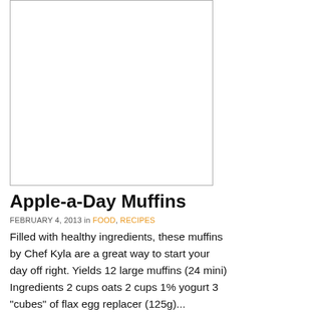[Figure (photo): Blank white image placeholder with gray border]
Apple-a-Day Muffins
FEBRUARY 4, 2013 in FOOD, RECIPES
Filled with healthy ingredients, these muffins by Chef Kyla are a great way to start your day off right. Yields 12 large muffins (24 mini) Ingredients 2 cups oats 2 cups 1% yogurt 3 "cubes" of flax egg replacer (125g)...